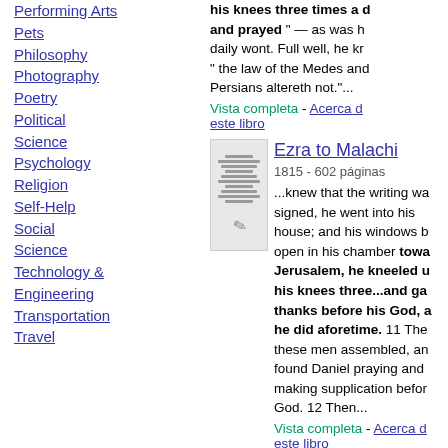Performing Arts
Pets
Philosophy
Photography
Poetry
Political Science
Psychology
Religion
Self-Help
Social Science
Technology & Engineering
Transportation
Travel
his knees three times a day and prayed “ — as was his daily wont. Full well, he kr “ the law of the Medes and Persians altereth not.”...
Vista completa - Acerca de este libro
Ezra to Malachi
1815 - 602 páginas
...knew that the writing was signed, he went into his house; and his windows being open in his chamber toward Jerusalem, he kneeled upon his knees three...and gave thanks before his God, as he did aforetime. 11 Then these men assembled, and found Daniel praying and making supplication before God. 12 Then...
Vista completa - Acerca de este libro
A Body of Divinity...: With Notes, Original and Selected, Volumen4